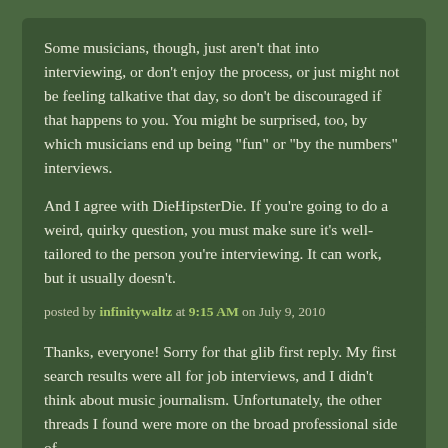Some musicians, though, just aren't that into interviewing, or don't enjoy the process, or just might not be feeling talkative that day, so don't be discouraged if that happens to you. You might be surprised, too, by which musicians end up being "fun" or "by the numbers" interviews.

And I agree with DieHipsterDie. If you're going to do a weird, quirky question, you must make sure it's well-tailored to the person you're interviewing. It can work, but it usually doesn't.
posted by infinitywaltz at 9:15 AM on July 9, 2010
Thanks, everyone! Sorry for that glib first reply. My first search results were all for job interviews, and I didn't think about music journalism. Unfortunately, the other threads I found were more on the broad professional side of